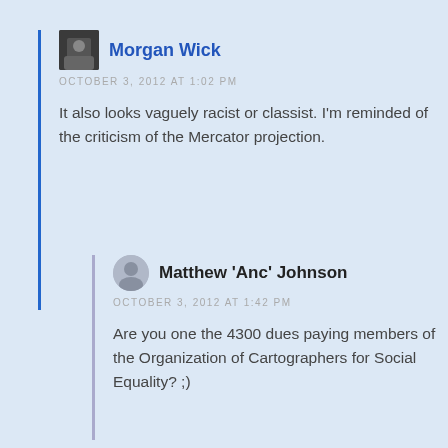Morgan Wick
OCTOBER 3, 2012 AT 1:02 PM
It also looks vaguely racist or classist. I'm reminded of the criticism of the Mercator projection.
Matthew 'Anc' Johnson
OCTOBER 3, 2012 AT 1:42 PM
Are you one the 4300 dues paying members of the Organization of Cartographers for Social Equality? ;)